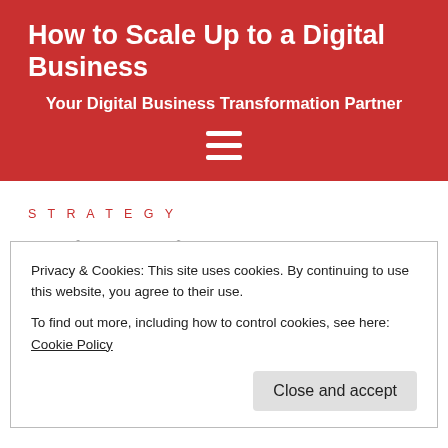How to Scale Up to a Digital Business
Your Digital Business Transformation Partner
[Figure (other): Hamburger menu icon (three horizontal white lines) on red background]
STRATEGY
Privacy & Cookies: This site uses cookies. By continuing to use this website, you agree to their use.
To find out more, including how to control cookies, see here: Cookie Policy
Close and accept
POSTED 10/06/2016   MARKETING